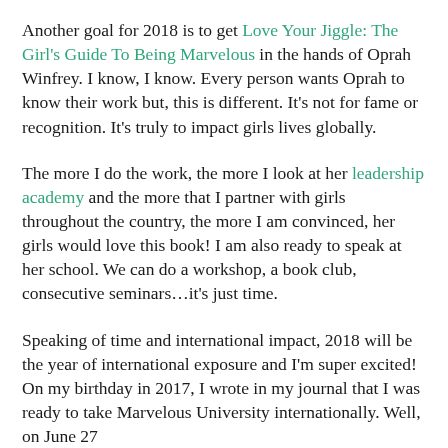Another goal for 2018 is to get Love Your Jiggle: The Girl's Guide To Being Marvelous in the hands of Oprah Winfrey. I know, I know. Every person wants Oprah to know their work but, this is different. It's not for fame or recognition. It's truly to impact girls lives globally.
The more I do the work, the more I look at her leadership academy and the more that I partner with girls throughout the country, the more I am convinced, her girls would love this book! I am also ready to speak at her school. We can do a workshop, a book club, consecutive seminars…it's just time.
Speaking of time and international impact, 2018 will be the year of international exposure and I'm super excited! On my birthday in 2017, I wrote in my journal that I was ready to take Marvelous University internationally. Well, on June 27